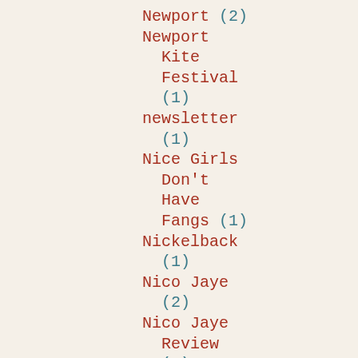Newport (2)
Newport Kite Festival (1)
newsletter (1)
Nice Girls Don't Have Fangs (1)
Nickelback (1)
Nico Jaye (2)
Nico Jaye Review (3)